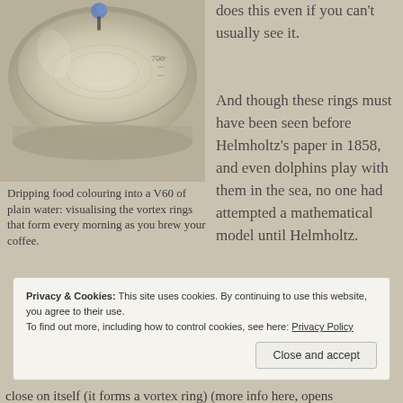[Figure (photo): A photograph showing food colouring being dripped into a V60 brewer of plain water, visualising vortex rings. The image shows a glass measuring cup with a beaker and liquid, viewed from above/side.]
Dripping food colouring into a V60 of plain water: visualising the vortex rings that form every morning as you brew your coffee.
does this even if you can't usually see it.

And though these rings must have been seen before Helmholtz's paper in 1858, and even dolphins play with them in the sea, no one had attempted a mathematical model until Helmholtz.
Privacy & Cookies: This site uses cookies. By continuing to use this website, you agree to their use.
To find out more, including how to control cookies, see here: Privacy Policy
close on itself (it forms a vortex ring) (more info here, opens